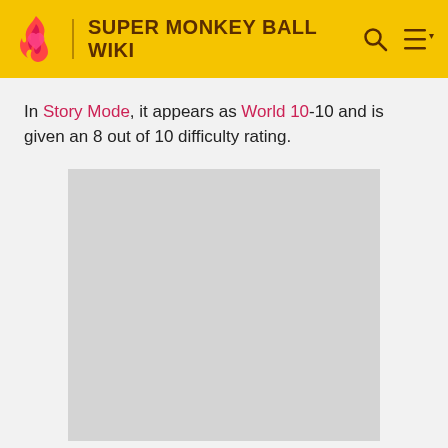SUPER MONKEY BALL WIKI
In Story Mode, it appears as World 10-10 and is given an 8 out of 10 difficulty rating.
[Figure (other): Advertisement placeholder — grey rectangle]
ADVERTISEMENT